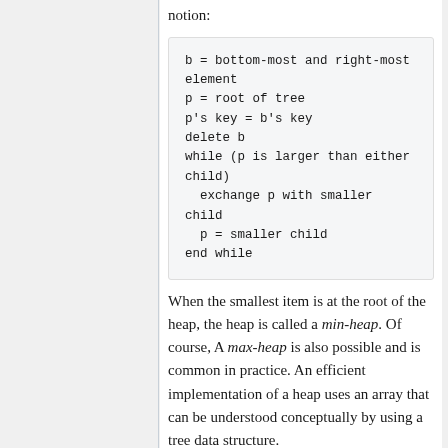notion:
b = bottom-most and right-most element
p = root of tree
p's key = b's key
delete b
while (p is larger than either child)
  exchange p with smaller child
  p = smaller child
end while
When the smallest item is at the root of the heap, the heap is called a min-heap. Of course, A max-heap is also possible and is common in practice. An efficient implementation of a heap uses an array that can be understood conceptually by using a tree data structure.